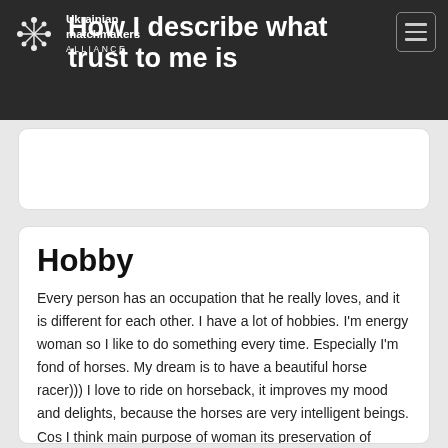Ukrainian matchmakers ALLIANCE
How I describe what trust to me is
Hobby
Every person has an occupation that he really loves, and it is different for each other. I have a lot of hobbies. I'm energy woman so I like to do something every time. Especially I'm fond of horses. My dream is to have a beautiful horse racer))) I love to ride on horseback, it improves my mood and delights, because the horses are very intelligent beings. Cos I think main purpose of woman its preservation of family fire. I adore of cooking, gardening and handmade. For my man I